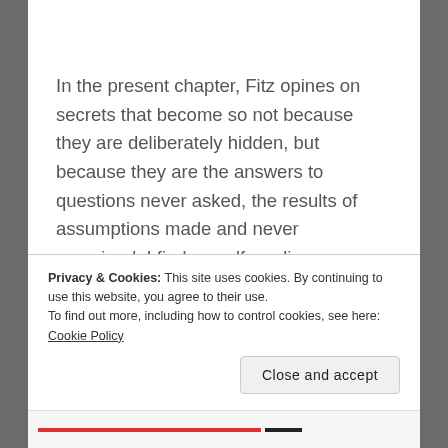In the present chapter, Fitz opines on secrets that become so not because they are deliberately hidden, but because they are the answers to questions never asked, the results of assumptions made and never examined. I find myself reading affectively once again, wondering what I do not know because it never occurred to me that I ought to ask, contemplating what I will not tell my daughter for the same reasons. Part of why I keep a journal is so
Privacy & Cookies: This site uses cookies. By continuing to use this website, you agree to their use.
To find out more, including how to control cookies, see here: Cookie Policy
Close and accept